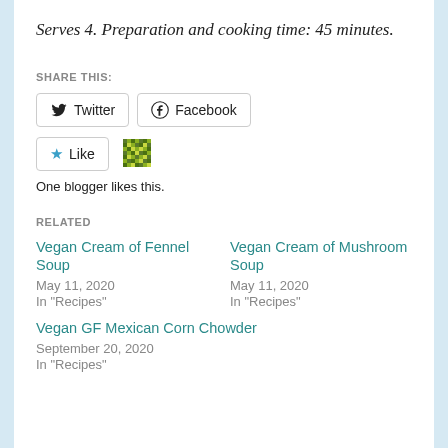Serves 4. Preparation and cooking time: 45 minutes.
SHARE THIS:
[Figure (infographic): Social share buttons: Twitter, Facebook, Like, and a pixelated/mosaic icon. One blogger likes this.]
One blogger likes this.
RELATED
Vegan Cream of Fennel Soup
May 11, 2020
In "Recipes"
Vegan Cream of Mushroom Soup
May 11, 2020
In "Recipes"
Vegan GF Mexican Corn Chowder
September 20, 2020
In "Recipes"